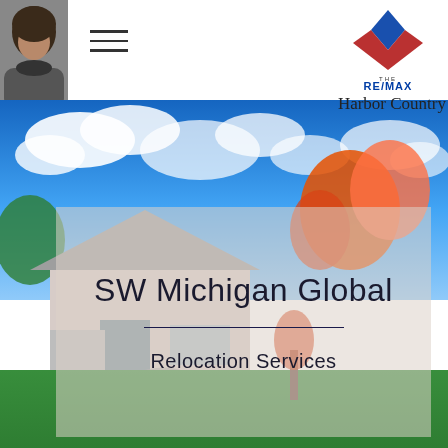[Figure (photo): Agent headshot photo in top left corner, small square thumbnail]
[Figure (other): Hamburger/menu icon with three horizontal lines]
[Figure (logo): RE/MAX Collection logo in top right with diamond icon and text 'THE RE/MAX COLLECTION']
Harbor Country
[Figure (photo): Suburban home with autumn foliage, blue sky with clouds, green lawn and curved driveway]
SW Michigan Global
Relocation Services